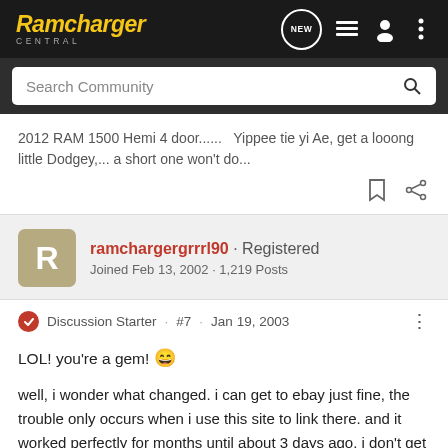Ramcharger Central
Search Community
2012 RAM 1500 Hemi 4 door......   Yippee tie yi Ae, get a looong little Dodgey,... a short one won't do...
ramchargergrrrl90 · Registered
Joined Feb 13, 2002 · 1,219 Posts
Discussion Starter · #7 · Jan 19, 2003
LOL! you're a gem! 😄

well, i wonder what changed. i can get to ebay just fine, the trouble only occurs when i use this site to link there. and it worked perfectly for months until about 3 days ago. i don't get it.